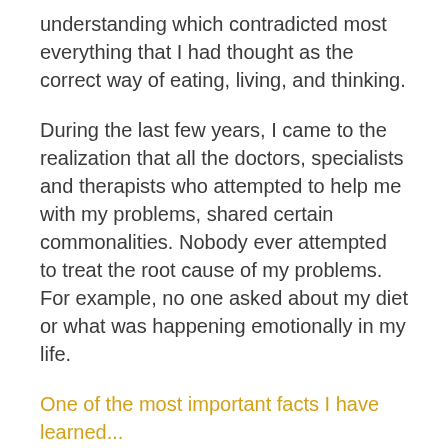understanding which contradicted most everything that I had thought as the correct way of eating, living, and thinking.
During the last few years, I came to the realization that all the doctors, specialists and therapists who attempted to help me with my problems, shared certain commonalities. Nobody ever attempted to treat the root cause of my problems. For example, no one asked about my diet or what was happening emotionally in my life.
One of the most important facts I have learned...
... is that so many doctors and experts are sincere within their role and purpose,